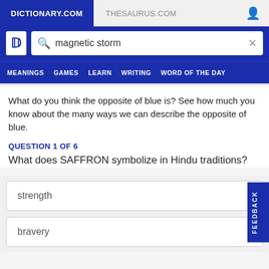DICTIONARY.COM | THESAURUS.COM
[Figure (screenshot): Dictionary.com website header with logo, search bar showing 'magnetic storm', and navigation menu with MEANINGS, GAMES, LEARN, WRITING, WORD OF THE DAY]
What do you think the opposite of blue is? See how much you know about the many ways we can describe the opposite of blue.
QUESTION 1 OF 6
What does SAFFRON symbolize in Hindu traditions?
strength
bravery